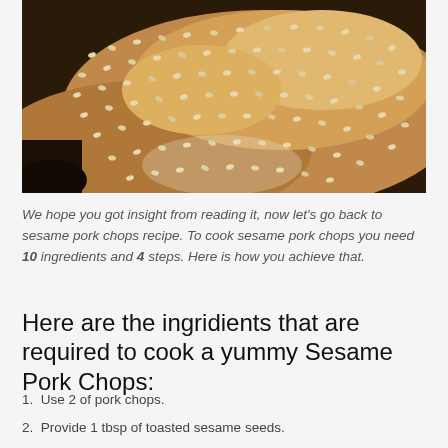[Figure (photo): Close-up photo of sesame-crusted pork chops covered in toasted sesame seeds, warm golden-brown color]
We hope you got insight from reading it, now let's go back to sesame pork chops recipe. To cook sesame pork chops you need 10 ingredients and 4 steps. Here is how you achieve that.
Here are the ingridients that are required to cook a yummy Sesame Pork Chops:
Use 2 of pork chops.
Provide 1 tbsp of toasted sesame seeds.